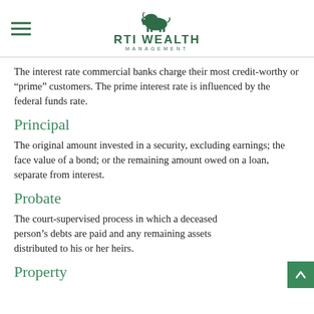RTI WEALTH MANAGEMENT
The interest rate commercial banks charge their most creditworthy or “prime” customers. The prime interest rate is influenced by the federal funds rate.
Principal
The original amount invested in a security, excluding earnings; the face value of a bond; or the remaining amount owed on a loan, separate from interest.
Probate
The court-supervised process in which a deceased person’s debts are paid and any remaining assets distributed to his or her heirs.
Property